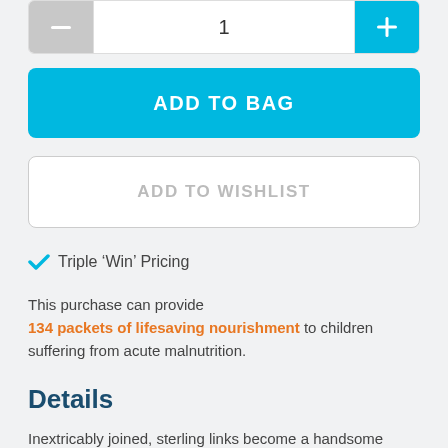[Figure (screenshot): Quantity selector with minus button (grey), input field showing 1, and plus button (blue)]
ADD TO BAG
ADD TO WISHLIST
Triple 'Win' Pricing
This purchase can provide 134 packets of lifesaving nourishment to children suffering from acute malnutrition.
Details
Inextricably joined, sterling links become a handsome